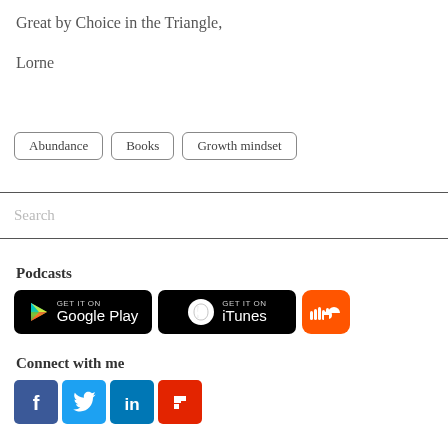Great by Choice in the Triangle,
Lorne
Abundance
Books
Growth mindset
Search
Podcasts
[Figure (logo): Get it on Google Play badge]
[Figure (logo): Get it on iTunes badge]
[Figure (logo): SoundCloud badge]
Connect with me
[Figure (logo): Facebook, Twitter, LinkedIn, Flipboard social media icons]